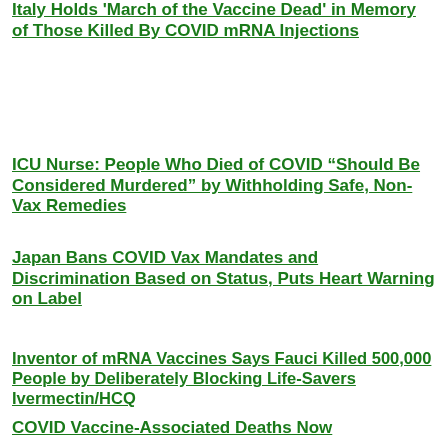Italy Holds 'March of the Vaccine Dead' in Memory of Those Killed By COVID mRNA Injections
ICU Nurse: People Who Died of COVID “Should Be Considered Murdered” by Withholding Safe, Non-Vax Remedies
Japan Bans COVID Vax Mandates and Discrimination Based on Status, Puts Heart Warning on Label
Inventor of mRNA Vaccines Says Fauci Killed 500,000 People by Deliberately Blocking Life-Savers Ivermectin/HCQ
COVID Vaccine-Associated Deaths Now